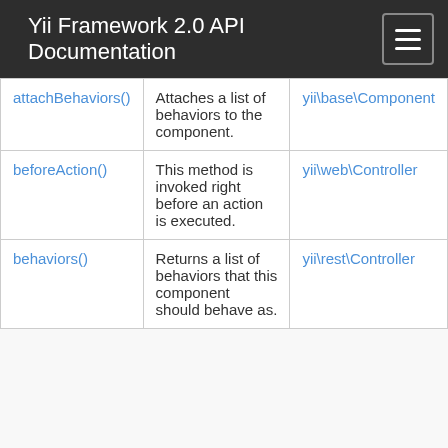Yii Framework 2.0 API Documentation
| attachBehaviors() | Attaches a list of behaviors to the component. | yii\base\Component |
| beforeAction() | This method is invoked right before an action is executed. | yii\web\Controller |
| behaviors() | Returns a list of behaviors that this component should behave as. | yii\rest\Controller |